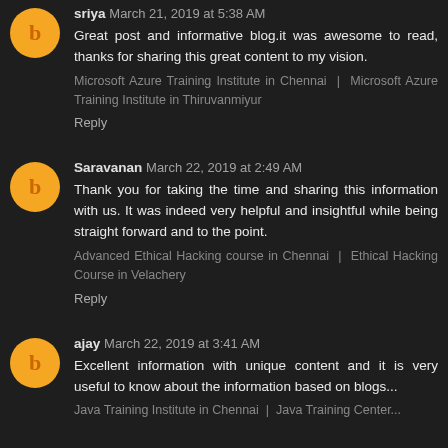sriya March 21, 2019 at 5:38 AM
Great post and informative blog.it was awesome to read, thanks for sharing this great content to my vision.
Microsoft Azure Training Institute in Chennai | Microsoft Azure Training Institute in Thiruvanmiyur
Reply
Saravanan March 22, 2019 at 2:49 AM
Thank you for taking the time and sharing this information with us. It was indeed very helpful and insightful while being straight forward and to the point.
Advanced Ethical Hacking course in Chennai | Ethical Hacking Course in Velachery
Reply
ajay March 22, 2019 at 3:41 AM
Excellent information with unique content and it is very useful to know about the information based on blogs...
Java Training Institute in Chennai | Java Training Center...